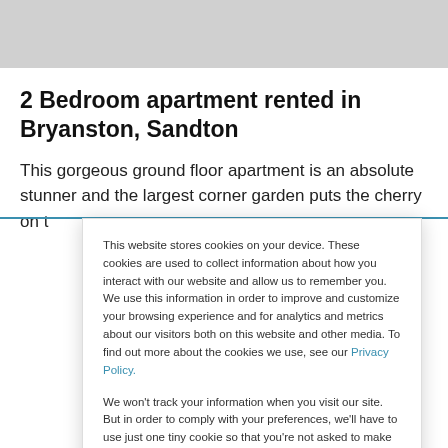[Figure (photo): Gray placeholder image area at top of page]
2 Bedroom apartment rented in Bryanston, Sandton
This gorgeous ground floor apartment is an absolute stunner and the largest corner garden puts the cherry on t
This website stores cookies on your device. These cookies are used to collect information about how you interact with our website and allow us to remember you. We use this information in order to improve and customize your browsing experience and for analytics and metrics about our visitors both on this website and other media. To find out more about the cookies we use, see our Privacy Policy.
We won't track your information when you visit our site. But in order to comply with your preferences, we'll have to use just one tiny cookie so that you're not asked to make this choice again.
Accept
Decline